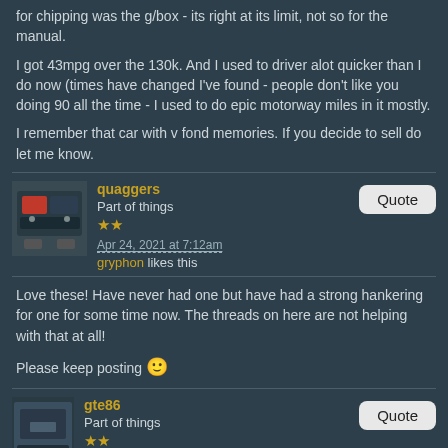for chipping was the g/box - its right at its limit, not so for the manual.
I got 43mpg over the 130k. And I used to driver alot quicker than I do now (times have changed I've found - people don't like you doing 90 all the time - I used to do epic motorway miles in it mostly.
I remember that car with v fond memories. If you decide to sell do let me know.
quaggers
Part of things
★★
Apr 24, 2021 at 7:12am
gryphon likes this
Love these! Have never had one but have had a strong hankering for one for some time now. The threads on here are not helping with that at all!

Please keep posting 🙂
gte86
Part of things
★★
Apr 24, 2021 at 7:30am
I'll sit down later and have a proper read through this. Looking good tho